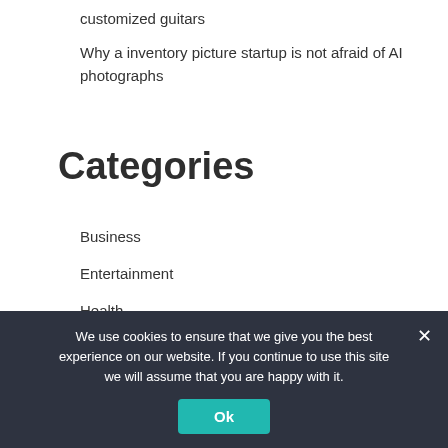customized guitars
Why a inventory picture startup is not afraid of AI photographs
Categories
Business
Entertainment
Health
sports
We use cookies to ensure that we give you the best experience on our website. If you continue to use this site we will assume that you are happy with it.